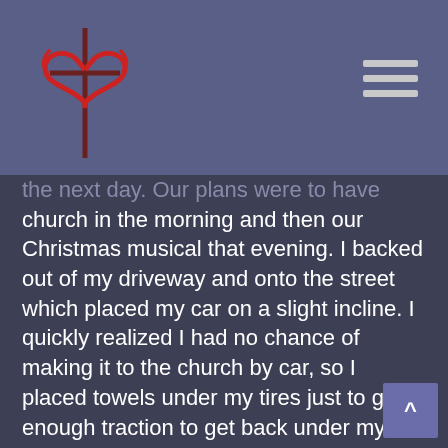[Figure (logo): Church logo with a red heart and cross symbol on a purple-blue header background]
the next day. Our plans were to have church in the morning and then our Christmas musical that evening. I backed out of my driveway and onto the street which placed my car on a slight incline. I quickly realized I had no chance of making it to the church by car, so I placed towels under my tires just to get enough traction to get back under my carport.
It was a memorable week. It was Bedlam weekend. (OU won. Big shock!) We had to cancel all services that Sunday, but that wasn't all. We were stuck inside for 5 days. Every